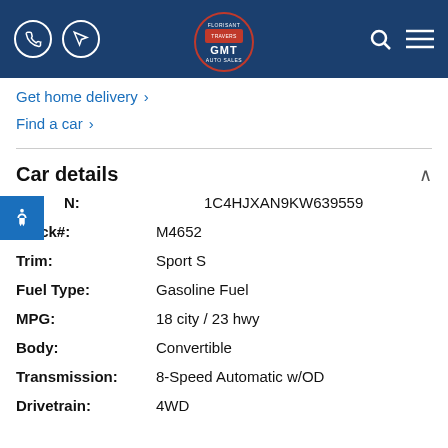GMT Auto Sales header with phone, directions, logo, search, and menu icons
Get home delivery ›
Find a car ›
Car details
| Field | Value |
| --- | --- |
| VIN: | 1C4HJXAN9KW639559 |
| Stock#: | M4652 |
| Trim: | Sport S |
| Fuel Type: | Gasoline Fuel |
| MPG: | 18 city / 23 hwy |
| Body: | Convertible |
| Transmission: | 8-Speed Automatic w/OD |
| Drivetrain: | 4WD |